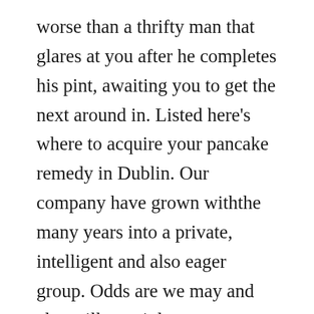worse than a thrifty man that glares at you after he completes his pint, awaiting you to get the next around in. Listed here's where to acquire your pancake remedy in Dublin. Our company have grown withthe many years into a private, intelligent and also eager group. Odds are we may and also will certainly consume you under the table. As our team discussed in the past, loved one irish girls worksheets they carry out enjoy to talk whichis why they discover it challenging to keep back their tongue in certain conversations.
Life is actually also quick as well as shocking. Medium type, pale grey all-natural hair. Performed